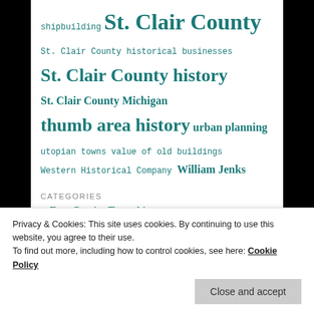shipbuilding St. Clair County
St. Clair County historical businesses
St. Clair County history
St. Clair County Michigan
thumb area history urban planning
utopian towns value of old buildings
Western Historical Company William Jenks
CATEGORIES
Fort Gratiot Township
Geneaology
Historic architecture
Privacy & Cookies: This site uses cookies. By continuing to use this website, you agree to their use.
To find out more, including how to control cookies, see here: Cookie Policy
Close and accept